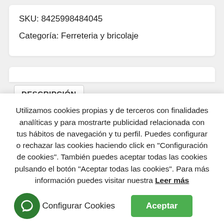SKU: 8425998484045
Categoría: Ferreteria y bricolaje
DESCRIPCIÓN
Utilizamos cookies propias y de terceros con finalidades analíticas y para mostrarte publicidad relacionada con tus hábitos de navegación y tu perfil. Puedes configurar o rechazar las cookies haciendo click en "Configuración de cookies". También puedes aceptar todas las cookies pulsando el botón "Aceptar todas las cookies". Para más información puedes visitar nuestra Leer más
Configurar Cookies
Aceptar